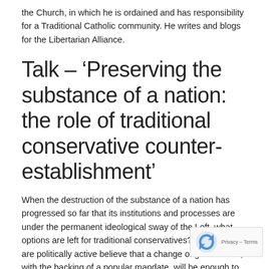the Church, in which he is ordained and has responsibility for a Traditional Catholic community. He writes and blogs for the Libertarian Alliance.
Talk – 'Preserving the substance of a nation: the role of traditional conservative counter-establishment'
When the destruction of the substance of a nation has progressed so far that its institutions and processes are under the permanent ideological sway of the Left, what options are left for traditional conservatives? Many who are politically active believe that a change of government, with the backing of a popular mandate, will be enough to reverse the cultural shift that has transformed Britain during the past half-century. However, the task at hand is much more intractable than and political action at a national level is in fact the last st implementing a reactionary agenda that must start at the grass